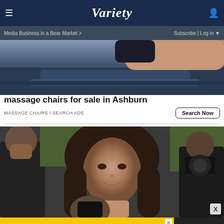Variety — Media Business in a Bear Market > | Subscribe | Log in
[Figure (photo): Partial photo of a person in a dark blue outfit reclining in what appears to be a massage chair]
massage chairs for sale in Ashburn
MASSAGE CHAIRS I SEARCH ADS
[Figure (photo): Photo of a woman with dark wavy hair and bangs at what appears to be a red carpet event, with photographers visible in the background]
[Figure (infographic): SPY Smart Home Awards — 75 Best Gadgets of 2022 advertisement banner with yellow background and SPY logo]